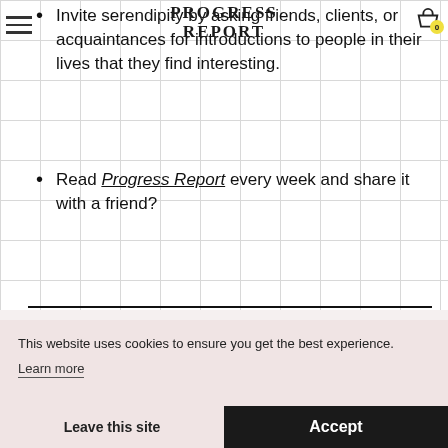PROGRESS REPORT
Invite serendipity by asking friends, clients, or acquaintances for introductions to people in their lives that they find interesting.
Read Progress Report every week and share it with a friend?
This website uses cookies to ensure you get the best experience.
Learn more
Leave this site
Accept
PROGRESS2